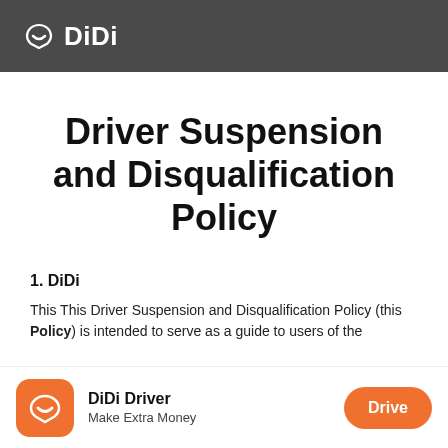DiDi
Driver Suspension and Disqualification Policy
1. DiDi
This This Driver Suspension and Disqualification Policy (this Policy) is intended to serve as a guide to users of the
[Figure (logo): DiDi Driver app banner with orange icon, 'DiDi Driver' title, 'Make Extra Money' subtitle, and orange 'Drive' button]